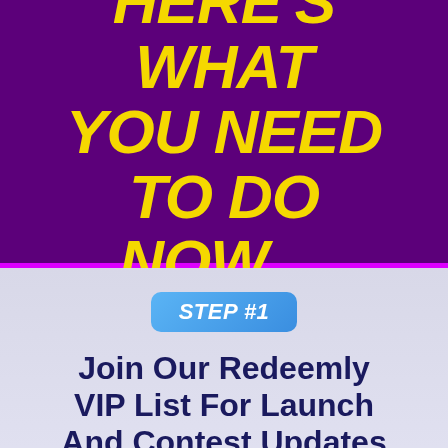HERE'S WHAT YOU NEED TO DO NOW…
STEP #1
Join Our Redeemly VIP List For Launch And Contest Updates